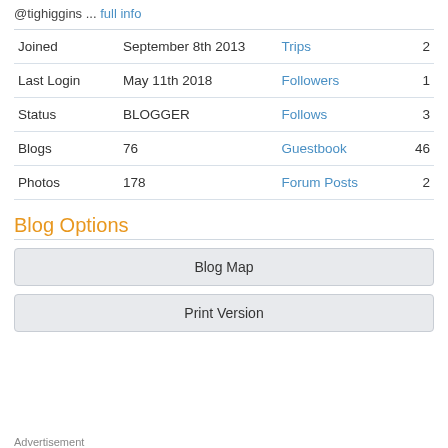@tighiggins ... full info
| Joined | September 8th 2013 | Trips | 2 |
| Last Login | May 11th 2018 | Followers | 1 |
| Status | BLOGGER | Follows | 3 |
| Blogs | 76 | Guestbook | 46 |
| Photos | 178 | Forum Posts | 2 |
Blog Options
Blog Map
Print Version
Advertisement